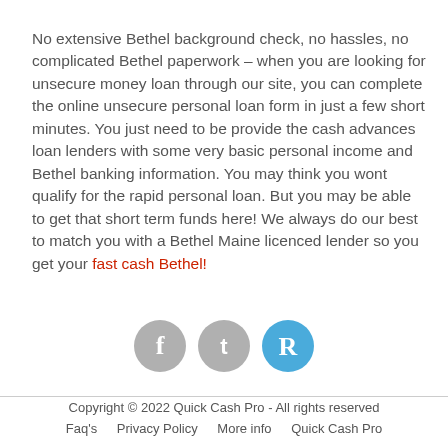No extensive Bethel background check, no hassles, no complicated Bethel paperwork – when you are looking for unsecure money loan through our site, you can complete the online unsecure personal loan form in just a few short minutes. You just need to be provide the cash advances loan lenders with some very basic personal income and Bethel banking information. You may think you wont qualify for the rapid personal loan. But you may be able to get that short term funds here! We always do our best to match you with a Bethel Maine licenced lender so you get your fast cash Bethel!
[Figure (other): Three social media icon circles: Facebook (gray), Twitter (gray), and a blue circle with letter R]
Copyright © 2022 Quick Cash Pro - All rights reserved
Faq's   Privacy Policy   More info   Quick Cash Pro